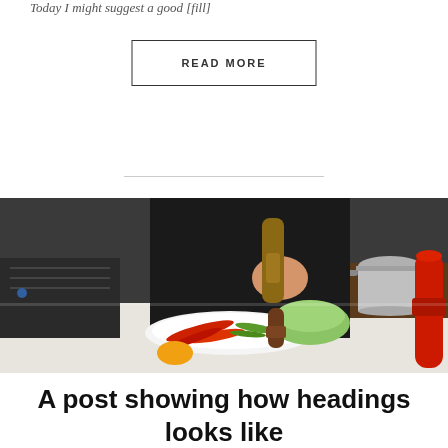Today I might suggest a good [fill]
READ MORE
[Figure (photo): A chef in a black apron using a wooden pepper grinder over a white plate with sliced vegetables including red and green peppers, with a stainless steel pot and a red pepper mill in the background on a kitchen counter.]
A post showing how headings looks like